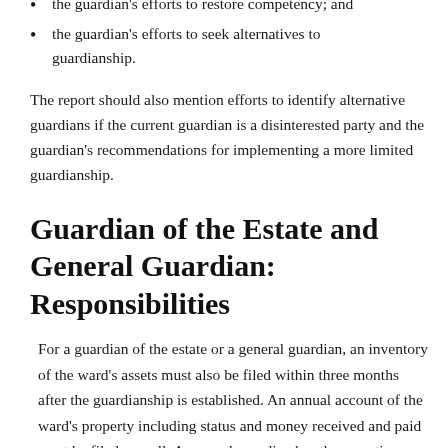rehabilitation or habilitation;
the guardian's efforts to restore competency; and
the guardian's efforts to seek alternatives to guardianship.
The report should also mention efforts to identify alternative guardians if the current guardian is a disinterested party and the guardian's recommendations for implementing a more limited guardianship.
Guardian of the Estate and General Guardian: Responsibilities
For a guardian of the estate or a general guardian, an inventory of the ward's assets must also be filed within three months after the guardianship is established. An annual account of the ward's property including status and money received and paid must be filed as well. A general guardian has the reporting duties and accounting requirements of both a guardian of the person and a guardian of the estate.